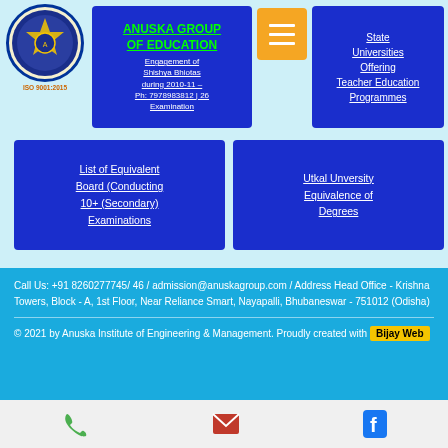[Figure (logo): Anuska Group institution logo - circular shield emblem with ISO 9001:2015 text below]
ANUSKA GROUP OF EDUCATION
Engagement of Shishya Bhiotas during 2010-11 – Ph: 7978983812 | 26 Examination
State Universities Offering Teacher Education Programmes
List of Equivalent Board (Conducting 10+ (Secondary) Examinations
Utkal Unversity Equivalence of Degrees
Call Us: +91 8260277745/ 46  /  admission@anuskagroup.com   / Address Head Office - Krishna Towers, Block - A, 1st Floor, Near Reliance Smart, Nayapalli, Bhubaneswar - 751012 (Odisha)
© 2021 by Anuska Institute of Engineering & Management. Proudly created with Bijay Web